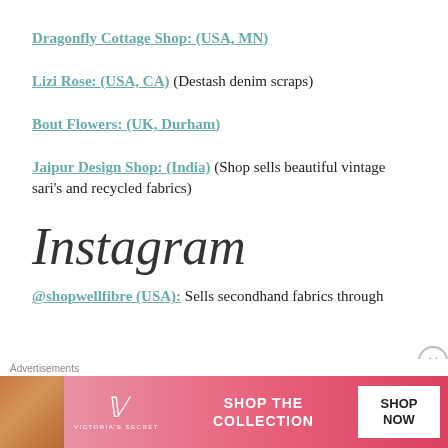Dragonfly Cottage Shop: (USA, MN)
Lizi Rose: (USA, CA) (Destash denim scraps)
Bout Flowers: (UK, Durham)
Jaipur Design Shop: (India) (Shop sells beautiful vintage sari’s and recycled fabrics)
Instagram
@shopwellfibre (USA): Sells secondhand fabrics through instagram (ongoing curated threads)
[Figure (screenshot): Victoria's Secret advertisement banner with model photo, VS logo, 'SHOP THE COLLECTION' text, and 'SHOP NOW' button]